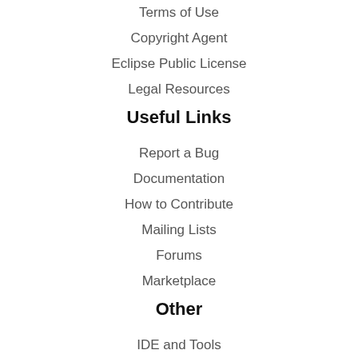Terms of Use
Copyright Agent
Eclipse Public License
Legal Resources
Useful Links
Report a Bug
Documentation
How to Contribute
Mailing Lists
Forums
Marketplace
Other
IDE and Tools